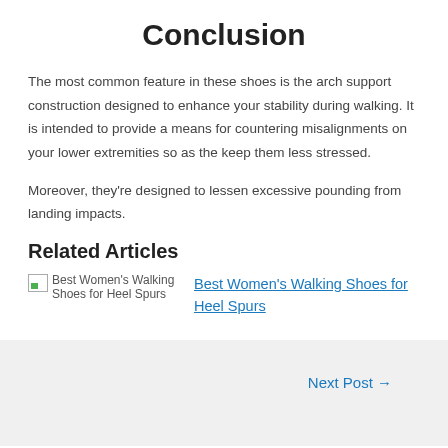Conclusion
The most common feature in these shoes is the arch support construction designed to enhance your stability during walking. It is intended to provide a means for countering misalignments on your lower extremities so as the keep them less stressed.
Moreover, they’re designed to lessen excessive pounding from landing impacts.
Related Articles
[Figure (other): Broken image placeholder for Best Women's Walking Shoes for Heel Spurs]
Best Women’s Walking Shoes for Heel Spurs
Next Post →